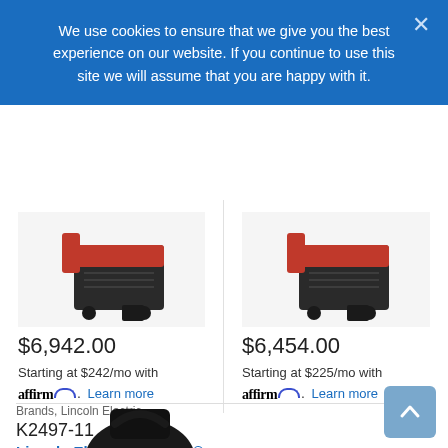We use cookies to ensure that we give you the best experience on our website. If you continue to use this site we will assume that you are happy with it.
[Figure (photo): Product image of a welding fume extractor machine with red and black body and wheels, left column]
$6,942.00
Starting at $242/mo with affirm. Learn more
[Figure (photo): Product image of a welding fume extractor machine with red and black body and wheels, right column]
$6,454.00
Starting at $225/mo with affirm. Learn more
Brands, Lincoln Electric,
K2497-11
Lincoln Electric Mobiflex® 100 Welding Fume Exhaust
[Figure (photo): Partial image of Lincoln Electric Mobiflex 100 Welding Fume Exhaust product at bottom of page]